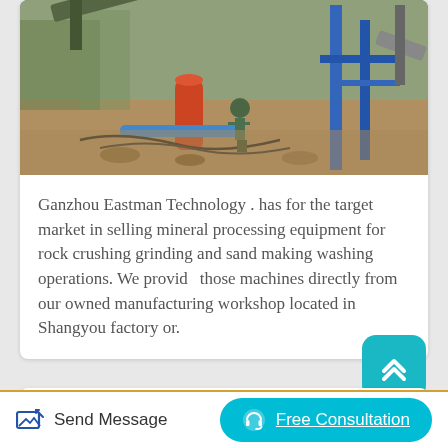[Figure (photo): Industrial construction site / sand making plant with machinery, blue metal structures, pipes, and a worker in green clothing working on equipment outdoors.]
Ganzhou Eastman Technology . has for the target market in selling mineral processing equipment for rock crushing grinding and sand making washing operations. We provide those machines directly from our owned manufacturing workshop located in Shangyou factory or.
Constructional Machines Artificial Sand
Send Message
Free Consultation